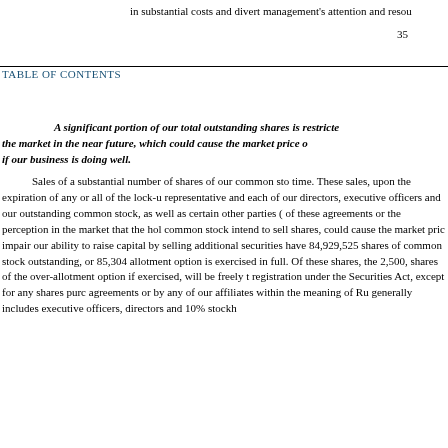in substantial costs and divert management's attention and resou
35
TABLE OF CONTENTS
A significant portion of our total outstanding shares is restricted from being sold in the market in the near future, which could cause the market price of our common stock to decline even if our business is doing well.
Sales of a substantial number of shares of our common stock in the public market could occur at any time. These sales, upon the expiration of any or all of the lock-up agreements between the underwriter's representative and each of our directors, executive officers and certain of our stockholders who hold all of our outstanding common stock, as well as certain other parties (see "Underwriting" section), or the release of these agreements or the perception in the market that the holders of a large number of shares of common stock intend to sell shares, could cause the market price of our common stock to decline and impair our ability to raise capital by selling additional securities. Upon completion of this offering, we will have 84,929,525 shares of common stock outstanding, or 85,304,525 shares if the underwriters' over-allotment option is exercised in full. Of these shares, the 2,500,000 shares of common stock, and up to 375,000 shares of the over-allotment option if exercised, will be freely tradable without restriction or further registration under the Securities Act, except for any shares purchased by "affiliates" as defined in the lock-up agreements or by any of our affiliates within the meaning of Rule 144 under the Securities Act, which generally includes executive officers, directors and 10% stockhol